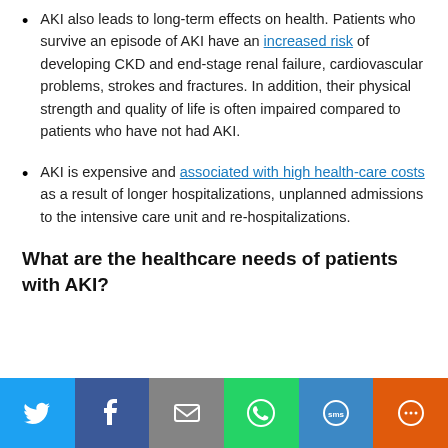AKI also leads to long-term effects on health. Patients who survive an episode of AKI have an increased risk of developing CKD and end-stage renal failure, cardiovascular problems, strokes and fractures. In addition, their physical strength and quality of life is often impaired compared to patients who have not had AKI.
AKI is expensive and associated with high health-care costs as a result of longer hospitalizations, unplanned admissions to the intensive care unit and re-hospitalizations.
What are the healthcare needs of patients with AKI?
[Figure (infographic): Social sharing bar with Twitter, Facebook, Email, WhatsApp, SMS, and Share buttons]